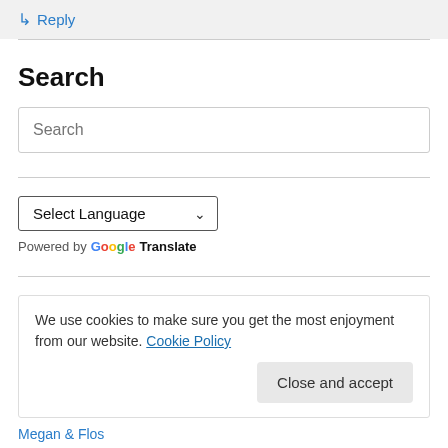↳ Reply
Search
Search
Select Language
Powered by Google Translate
We use cookies to make sure you get the most enjoyment from our website. Cookie Policy
Close and accept
Megan & Flos